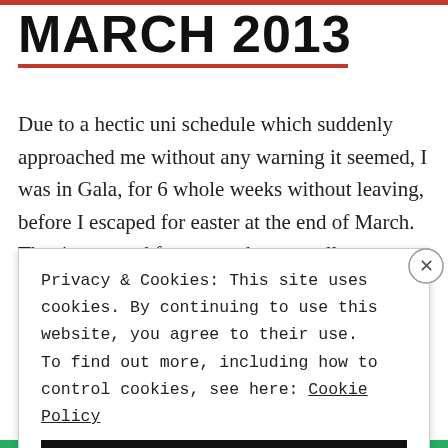MARCH 2013
Due to a hectic uni schedule which suddenly approached me without any warning it seemed, I was in Gala, for 6 whole weeks without leaving, before I escaped for easter at the end of March. That is a record for me....who normally stays only during the week and escapes to Edinburgh or
Privacy & Cookies: This site uses cookies. By continuing to use this website, you agree to their use. To find out more, including how to control cookies, see here: Cookie Policy
Close and accept